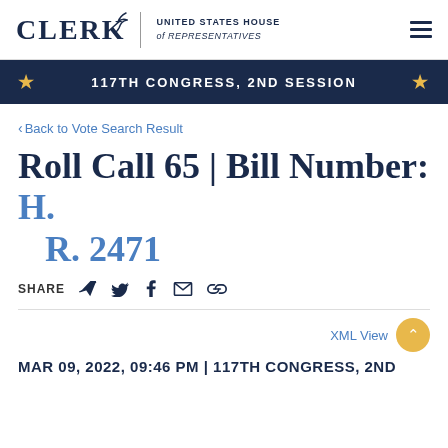CLERK United States House of Representatives
117TH CONGRESS, 2ND SESSION
< Back to Vote Search Result
Roll Call 65 | Bill Number: H. R. 2471
SHARE
XML View
MAR 09, 2022, 09:46 PM | 117TH CONGRESS, 2ND